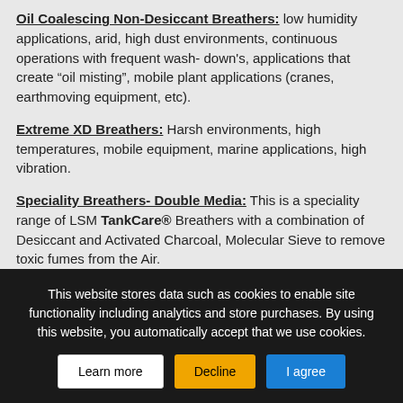Oil Coalescing Non-Desiccant Breathers: low humidity applications, arid, high dust environments, continuous operations with frequent wash-down's, applications that create "oil misting", mobile plant applications (cranes, earthmoving equipment, etc).
Extreme XD Breathers: Harsh environments, high temperatures, mobile equipment, marine applications, high vibration.
Speciality Breathers- Double Media: This is a speciality range of LSM TankCare® Breathers with a combination of Desiccant and Activated Charcoal, Molecular Sieve to remove toxic fumes from the Air.
This website stores data such as cookies to enable site functionality including analytics and store purchases. By using this website, you automatically accept that we use cookies.